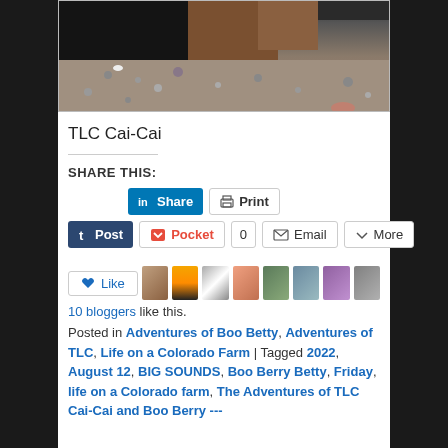[Figure (photo): Partial photo of animals (black fur visible) on gravelly ground with a person's foot/toe visible at bottom right]
TLC Cai-Cai
SHARE THIS:
Share | Print | Post | Pocket | 0 | Email | More
Like | 10 bloggers like this.
Posted in Adventures of Boo Betty, Adventures of TLC, Life on a Colorado Farm | Tagged 2022, August 12, BIG SOUNDS, Boo Berry Betty, Friday, life on a Colorado farm, The Adventures of TLC Cai-Cai and Boo Berry ---